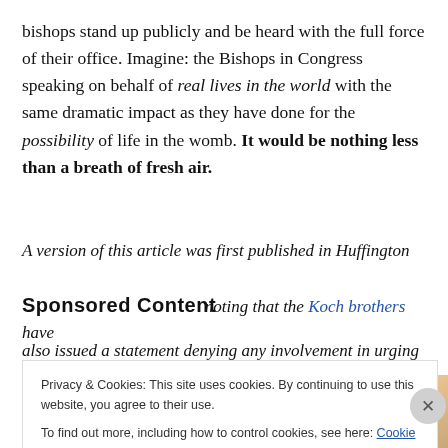bishops stand up publicly and be heard with the full force of their office. Imagine: the Bishops in Congress speaking on behalf of real lives in the world with the same dramatic impact as they have done for the possibility of life in the womb. It would be nothing less than a breath of fresh air.
A version of this article was first published in Huffington Post, noting that the Koch brothers have also issued a statement denying any involvement in urging
Sponsored Content
[Figure (photo): Partial photo of a blonde woman looking downward, overlaid by a cookie consent banner]
Privacy & Cookies: This site uses cookies. By continuing to use this website, you agree to their use.
To find out more, including how to control cookies, see here: Cookie Policy
Close and accept